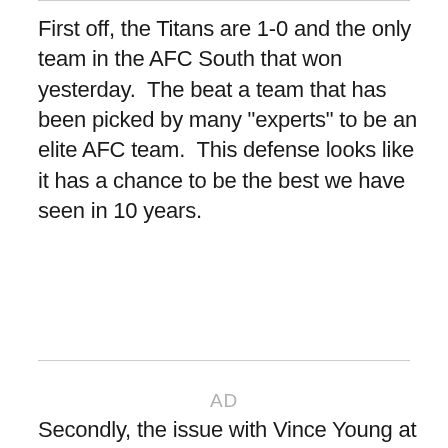First off, the Titans are 1-0 and the only team in the AFC South that won yesterday.  The beat a team that has been picked by many "experts" to be an elite AFC team.  This defense looks like it has a chance to be the best we have seen in 10 years.
AD
Secondly, the issue with Vince Young at this point is